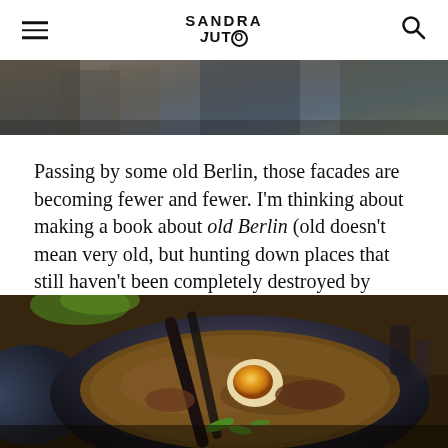SANDRA JUTO
[Figure (photo): Partial view of old Berlin building facades, cropped at top of page]
Passing by some old Berlin, those facades are becoming fewer and fewer. I'm thinking about making a book about old Berlin (old doesn't mean very old, but hunting down places that still haven't been completely destroyed by gentrification before it's too late), what do you think?
[Figure (photo): Close-up photograph of a bowl of ramen soup with a soft-boiled egg, broth, green onions, and chopsticks resting in the bowl, on a wooden table]